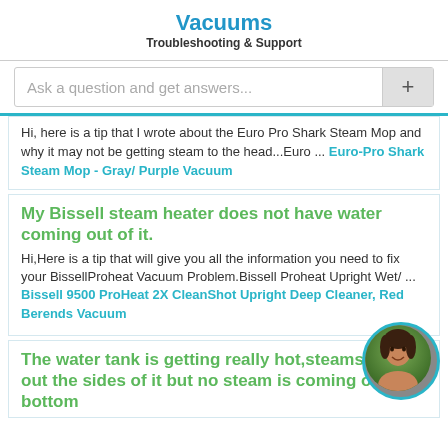Vacuums
Troubleshooting & Support
Ask a question and get answers...
Hi, here is a tip that I wrote about the Euro Pro Shark Steam Mop and why it may not be getting steam to the head...Euro ... Euro-Pro Shark Steam Mop - Gray/ Purple Vacuum
My Bissell steam heater does not have water coming out of it.
Hi,Here is a tip that will give you all the information you need to fix your BissellProheat Vacuum Problem.Bissell Proheat Upright Wet/ ... Bissell 9500 ProHeat 2X CleanShot Upright Deep Cleaner, Red Berends Vacuum
The water tank is getting really hot,steams come out the sides of it but no steam is coming out the bottom